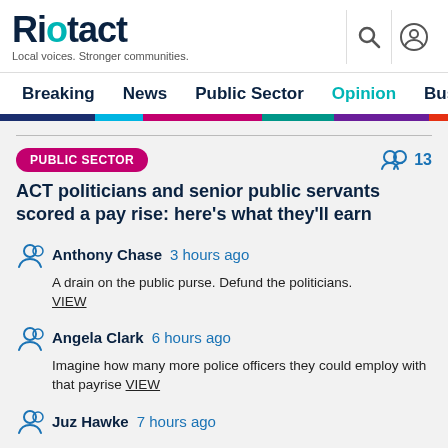Riotact — Local voices. Stronger communities.
Breaking  News  Public Sector  Opinion  Business
PUBLIC SECTOR
ACT politicians and senior public servants scored a pay rise: here's what they'll earn
Anthony Chase  3 hours ago — A drain on the public purse. Defund the politicians. VIEW
Angela Clark  6 hours ago — Imagine how many more police officers they could employ with that payrise VIEW
Juz Hawke  7 hours ago